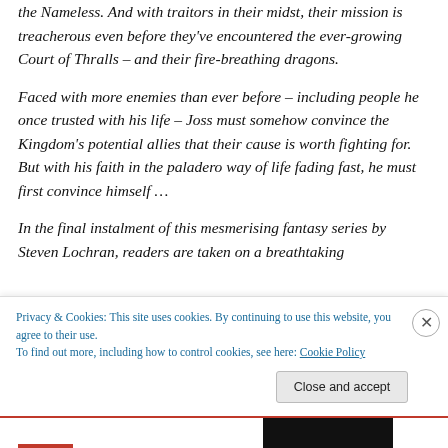the Nameless. And with traitors in their midst, their mission is treacherous even before they've encountered the ever-growing Court of Thralls – and their fire-breathing dragons.
Faced with more enemies than ever before – including people he once trusted with his life – Joss must somehow convince the Kingdom's potential allies that their cause is worth fighting for. But with his faith in the paladero way of life fading fast, he must first convince himself …
In the final instalment of this mesmerising fantasy series by Steven Lochran, readers are taken on a breathtaking
Privacy & Cookies: This site uses cookies. By continuing to use this website, you agree to their use.
To find out more, including how to control cookies, see here: Cookie Policy
Close and accept